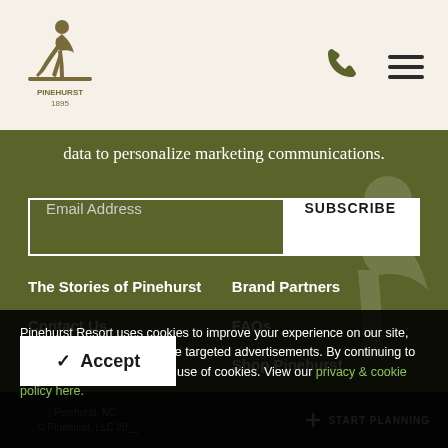[Figure (logo): Pinehurst golf resort logo with golfer silhouette and text PINEHURST 1895]
data to personalize marketing communications.
Email Address
SUBSCRIBE
The Stories of Pinehurst
Brand Partners
Contact Us
FAQs
Travel Information
Shop Pinehurst
Pinehurst Resort uses cookies to improve your experience on our site, analyze web traffic and serve targeted advertisements. By continuing to use our site, you accept our use of cookies. View our privacy & cookie policy here.
Accept
| Pinehurst, NC   + START PLANNING
© Pinehurst, LLC 20__